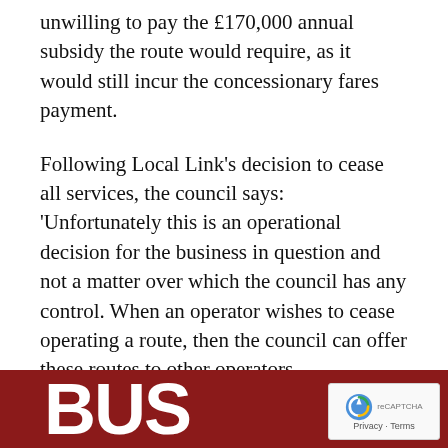unwilling to pay the £170,000 annual subsidy the route would require, as it would still incur the concessionary fares payment.
Following Local Link's decision to cease all services, the council says: 'Unfortunately this is an operational decision for the business in question and not a matter over which the council has any control. When an operator wishes to cease operating a route, then the council can offer these routes to other operators.
'This process is currently underway and we are in discussion with prospective operators.'
[Figure (logo): Partial red banner with white bold large letters forming a logo, partially visible at bottom of page]